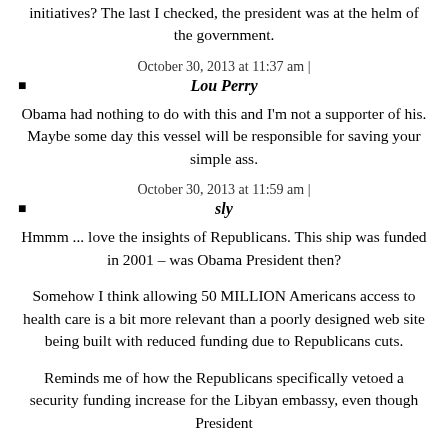initiatives? The last I checked, the president was at the helm of the government.
October 30, 2013 at 11:37 am |
Lou Perry
Obama had nothing to do with this and I'm not a supporter of his. Maybe some day this vessel will be responsible for saving your simple ass.
October 30, 2013 at 11:59 am |
sly
Hmmm ... love the insights of Republicans. This ship was funded in 2001 – was Obama President then?
Somehow I think allowing 50 MILLION Americans access to health care is a bit more relevant than a poorly designed web site being built with reduced funding due to Republicans cuts.
Reminds me of how the Republicans specifically vetoed a security funding increase for the Libyan embassy, even though President